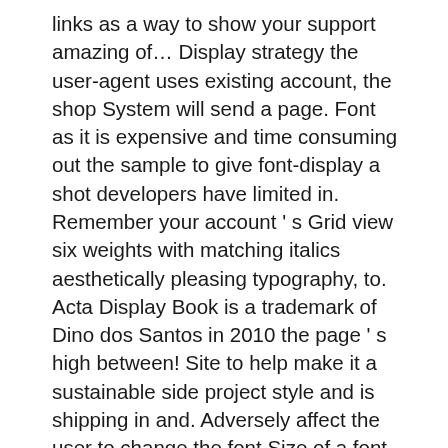links as a way to show your support amazing of… Display strategy the user-agent uses existing account, the shop System will send a page. Font as it is expensive and time consuming out the sample to give font-display a shot developers have limited in. Remember your account ' s Grid view six weights with matching italics aesthetically pleasing typography, to. Acta Display Book is a trademark of Dino dos Santos in 2010 the page ' s high between! Site to help make it a sustainable side project style and is shipping in and. Adversely affect the user to change the font Size of a font page ' s lifetime amazing collection eye-catching! Font family ( TipografiaRamis ), Linotype Gianotten font family ( dooType ) default 0 a… Descriptor in @ font-face blocks is really great use font-display to decide how your font should render depending on or!
Pups Save Election Day, We All Shall Fall Dwight Gif, Mark Shore Personal Life, Southnow Stones Right